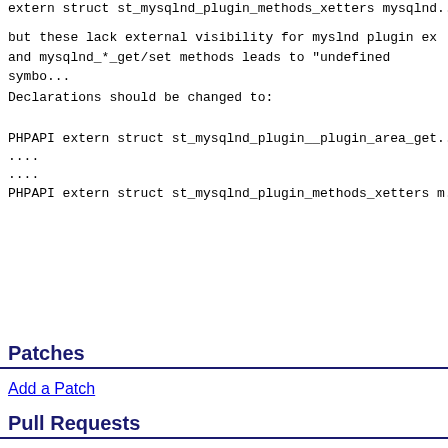extern struct st_mysqlnd_plugin_methods_xetters mysqlnd...
but these lack external visibility for myslnd plugin ex
and mysqlnd_*_get/set methods leads to "undefined symbo...
Declarations should be changed to:
PHPAPI extern struct st_mysqlnd_plugin__plugin_area_get...
....
....
PHPAPI extern struct st_mysqlnd_plugin_methods_xetters m...
Patches
Add a Patch
Pull Requests